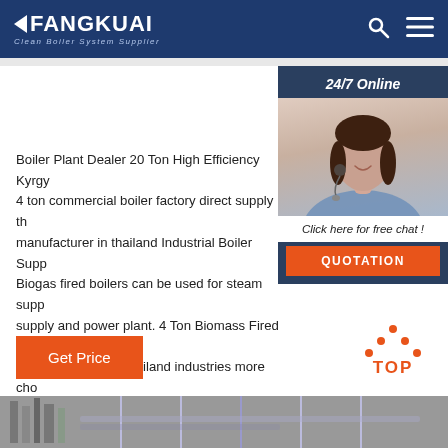FANGKUAI - Clean Boiler System Supplier
[Figure (photo): Customer service representative with headset, 24/7 Online widget with quotation button]
Boiler Plant Dealer 20 Ton High Efficiency Kyrgyz 4 ton commercial boiler factory direct supply the manufacturer in thailand Industrial Boiler Supp Biogas fired boilers can be used for steam supp supply and power plant. 4 Ton Biomass Fired Bo in ThailandZozen Thailand industries more cho to replace the gas fired and oil fired . 4 biomass common model ...
Get Price
[Figure (other): TOP button with orange dots arrow pointing up]
[Figure (photo): Bottom image bar showing industrial boiler equipment]